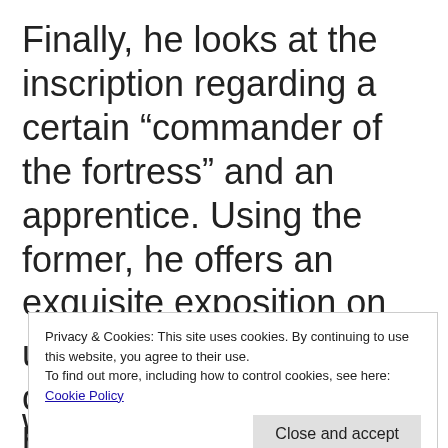Finally, he looks at the inscription regarding a certain “commander of the fortress” and an apprentice. Using the former, he offers an exquisite exposition on urbanization in the 9th century and how it may have resulted in the
Privacy & Cookies: This site uses cookies. By continuing to use this website, you agree to their use.
To find out more, including how to control cookies, see here: Cookie Policy
Close and accept
with the